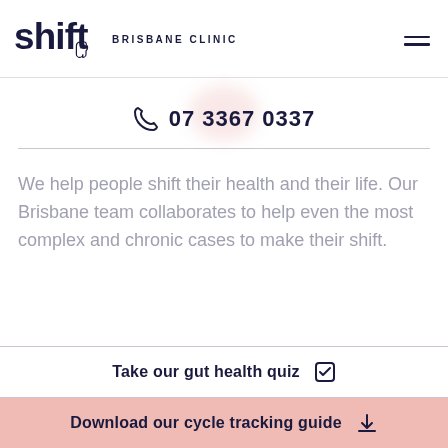[Figure (logo): Shift Brisbane Clinic logo — stylized 'shift' text with a hand/finger icon in dark navy, followed by 'BRISBANE CLINIC' in uppercase spaced lettering]
☎ 07 3367 0337
We help people shift their health and their life. Our Brisbane team collaborates to help even the most complex and chronic cases to make their shift.
Take our gut health quiz
Download our cycle tracking guide